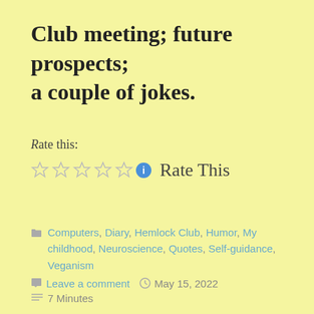Club meeting; future prospects; a couple of jokes.
Rate this:
☆☆☆☆☆ Rate This
📁 Computers, Diary, Hemlock Club, Humor, My childhood, Neuroscience, Quotes, Self-guidance, Veganism
💬 Leave a comment   🕐 May 15, 2022
≡ 7 Minutes